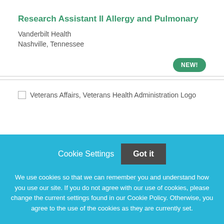Research Assistant II Allergy and Pulmonary
Vanderbilt Health
Nashville, Tennessee
NEW!
[Figure (logo): Veterans Affairs, Veterans Health Administration Logo]
Cookie Settings   Got it
We use cookies so that we can remember you and understand how you use our site. If you do not agree with our use of cookies, please change the current settings found in our Cookie Policy. Otherwise, you agree to the use of the cookies as they are currently set.